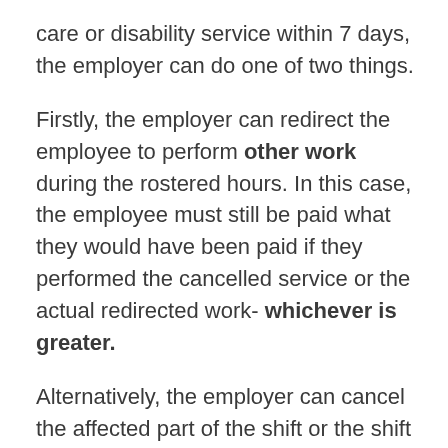care or disability service within 7 days, the employer can do one of two things.
Firstly, the employer can redirect the employee to perform other work during the rostered hours. In this case, the employee must still be paid what they would have been paid if they performed the cancelled service or the actual redirected work- whichever is greater.
Alternatively, the employer can cancel the affected part of the shift or the shift entirely. In this scenario, you must pay the employee what they would have received had it not been cancelled. If an employer would prefer to allocate “make-up time” instead, they are allowed to do so. There are, however, certain